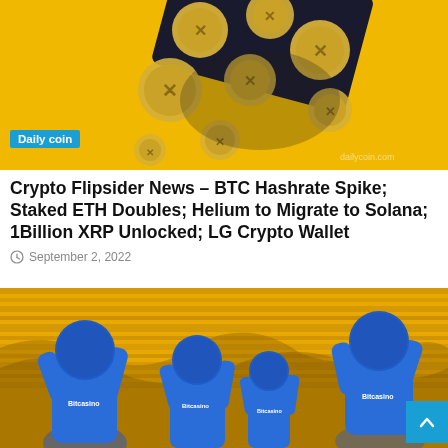[Figure (photo): Cryptocurrency coins (XRP/Ripple style) spilling out of a dark wallet against a yellow background, with a 'Daily coin' badge overlay]
Crypto Flipsider News – BTC Hashrate Spike; Staked ETH Doubles; Helium to Migrate to Solana; 1Billion XRP Unlocked; LG Crypto Wallet
September 2, 2022
[Figure (photo): Four figures in blue hoodies with Bitcasino logos facing a yellow server rack wall, viewed from behind]